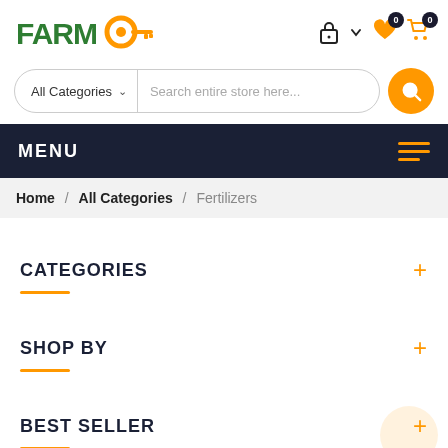[Figure (logo): FarmO logo with green text and orange circle key icon]
All Categories  Search entire store here...
MENU
Home / All Categories / Fertilizers
CATEGORIES
SHOP BY
BEST SELLER